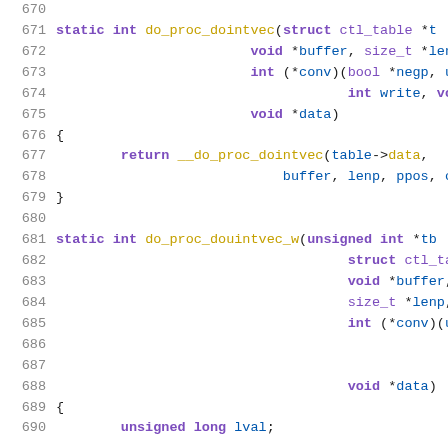Code listing lines 670-690, C source code showing do_proc_dointvec and do_proc_douintvec_w function definitions